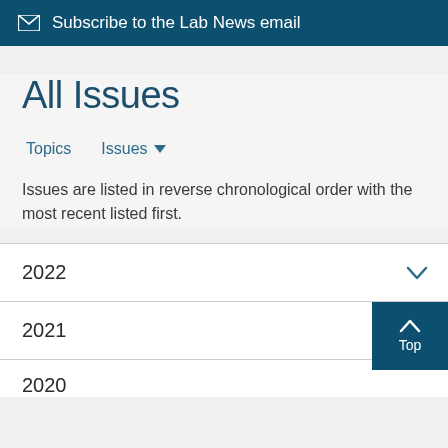Subscribe to the Lab News email
All Issues
Topics   Issues ▼
Issues are listed in reverse chronological order with the most recent listed first.
2022
2021
2020